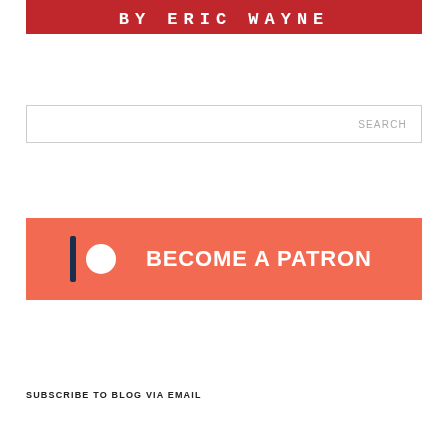[Figure (logo): Red banner with white text reading 'BY ERIC WAYNE' in a rough stencil/handwritten style]
[Figure (screenshot): Search input box with placeholder text 'SEARCH' on the right side]
[Figure (infographic): Orange-red Patreon banner with Patreon logo (dark bar and white circle) and bold white text 'BECOME A PATRON']
SUBSCRIBE TO BLOG VIA EMAIL